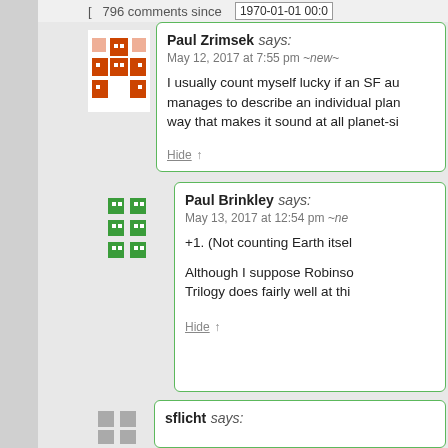[ 796 comments since 1970-01-01 00:0
Paul Zrimsek says:
May 12, 2017 at 7:55 pm ~new~

I usually count myself lucky if an SF author manages to describe an individual plan... way that makes it sound at all planet-si...
Hide ↑
Paul Brinkley says:
May 13, 2017 at 12:54 pm ~ne...

+1. (Not counting Earth itsel...

Although I suppose Robinso... Trilogy does fairly well at thi...
Hide ↑
sflicht says: